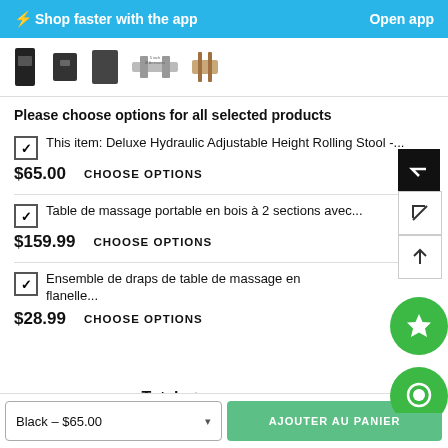⚡ Shop faster with the app   Open app
[Figure (screenshot): Product thumbnail images strip showing massage table and accessories]
Please choose options for all selected products
✔ This item: Deluxe Hydraulic Adjustable Height Rolling Stool -...
$65.00   CHOOSE OPTIONS
✔ Table de massage portable en bois à 2 sections avec...
$159.99   CHOOSE OPTIONS
✔ Ensemble de draps de table de massage en flanelle...
$28.99   CHOOSE OPTIONS
Total:   $253.98
Black – $65.00   AJOUTER AU PANIER